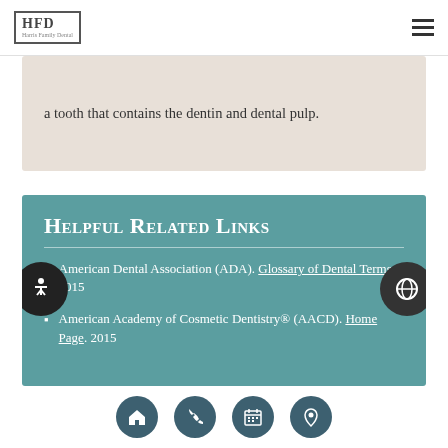HFD | [hamburger menu]
a tooth that contains the dentin and dental pulp.
Helpful Related Links
American Dental Association (ADA). Glossary of Dental Terms. 2015
American Academy of Cosmetic Dentistry® (AACD). Home Page. 2015
[home icon] [phone icon] [calendar icon] [location icon]